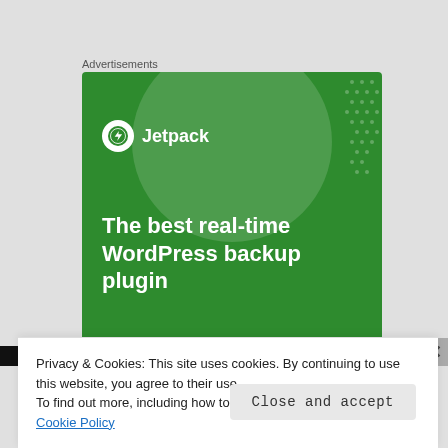Advertisements
[Figure (illustration): Jetpack WordPress plugin advertisement banner on green background. Shows Jetpack logo (white circle with lightning bolt icon and 'Jetpack' text), headline 'The best real-time WordPress backup plugin', and a white button 'Back up your site'.]
Privacy & Cookies: This site uses cookies. By continuing to use this website, you agree to their use.
To find out more, including how to control cookies, see here: Cookie Policy
Close and accept